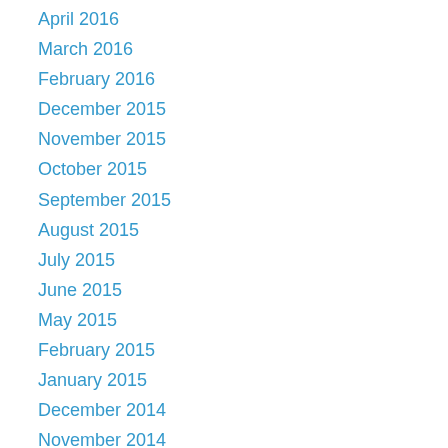April 2016
March 2016
February 2016
December 2015
November 2015
October 2015
September 2015
August 2015
July 2015
June 2015
May 2015
February 2015
January 2015
December 2014
November 2014
October 2014
September 2014
August 2014
July 2014
June 2014